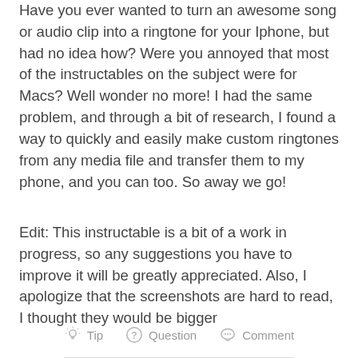Have you ever wanted to turn an awesome song or audio clip into a ringtone for your Iphone, but had no idea how? Were you annoyed that most of the instructables on the subject were for Macs? Well wonder no more! I had the same problem, and through a bit of research, I found a way to quickly and easily make custom ringtones from any media file and transfer them to my phone, and you can too. So away we go!
Edit: This instructable is a bit of a work in progress, so any suggestions you have to improve it will be greatly appreciated. Also, I apologize that the screenshots are hard to read, I thought they would be bigger
Tip   Question   Comment